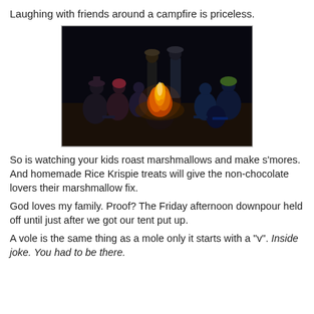Laughing with friends around a campfire is priceless.
[Figure (photo): Group of people sitting in folding chairs around a campfire at night, roasting marshmallows. Dark background, warm fire glow in the center.]
So is watching your kids roast marshmallows and make s'mores. And homemade Rice Krispie treats will give the non-chocolate lovers their marshmallow fix.
God loves my family. Proof? The Friday afternoon downpour held off until just after we got our tent put up.
A vole is the same thing as a mole only it starts with a "v". Inside joke. You had to be there.